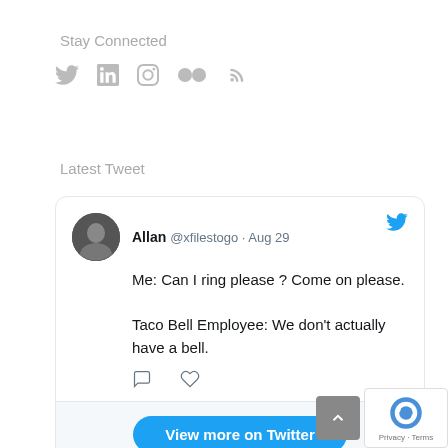Stay Connected
[Figure (illustration): Social media icons: Twitter bird, LinkedIn, Instagram, Flickr (two dots), RSS feed icon — all in light gray]
Latest Tweet
[Figure (screenshot): Embedded tweet card from Allan @xfilestogo · Aug 29. Tweet text: 'Me: Can I ring please ? Come on please. Taco Bell Employee: We don't actually have a bell.' With reply and like icons. Footer has 'View more on Twitter' blue button and 'Learn more about privacy on Twitter' note.]
View more on Twitter
Learn more about privacy on Twitter